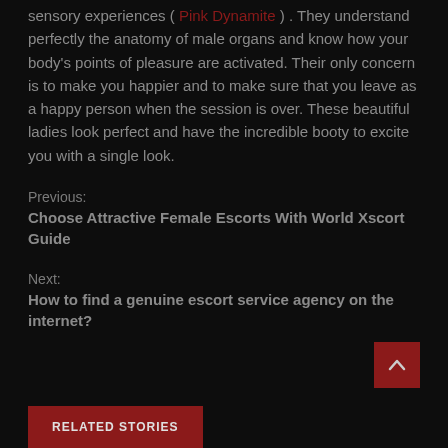sensory experiences ( Pink Dynamite ) . They understand perfectly the anatomy of male organs and know how your body's points of pleasure are activated. Their only concern is to make you happier and to make sure that you leave as a happy person when the session is over. These beautiful ladies look perfect and have the incredible booty to excite you with a single look.
Previous:
Choose Attractive Female Escorts With World Xscort Guide
Next:
How to find a genuine escort service agency on the internet?
RELATED STORIES